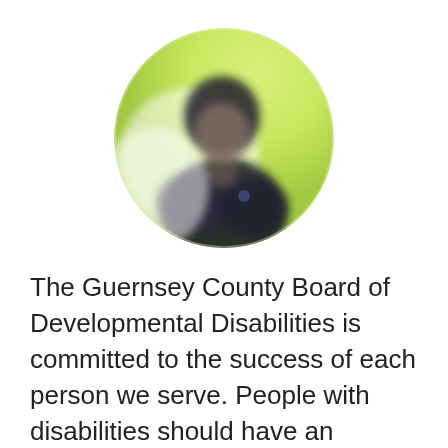[Figure (photo): Circular portrait photo of a person wearing dark clothing, blurred/privacy-protected, with a bright green/yellow background. The image is clipped to a circle shape.]
The Guernsey County Board of Developmental Disabilities is committed to the success of each person we serve. People with disabilities should have an